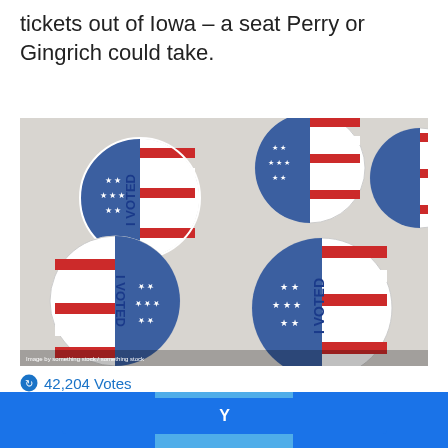tickets out of Iowa – a seat Perry or Gingrich could take.
[Figure (photo): Multiple 'I VOTED' stickers with American flag design (stars and stripes in blue and red) scattered on a white surface, some face-up and some face-down/upside-down.]
42,204 Votes
Should non-citizens be able to vote?